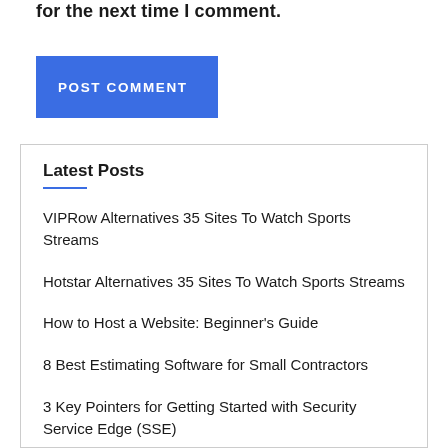for the next time I comment.
POST COMMENT
Latest Posts
VIPRow Alternatives 35 Sites To Watch Sports Streams
Hotstar Alternatives 35 Sites To Watch Sports Streams
How to Host a Website: Beginner's Guide
8 Best Estimating Software for Small Contractors
3 Key Pointers for Getting Started with Security Service Edge (SSE)
VIPBoxTV Alternatives 34 Sites To Watch Sports Streams